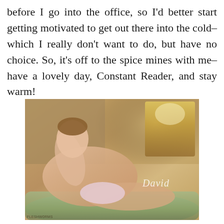before I go into the office, so I'd better start getting motivated to get out there into the cold–which I really don't want to do, but have no choice. So, it's off to the spice mines with me–have a lovely day, Constant Reader, and stay warm!
[Figure (photo): A young man reclining on a floral upholstered chaise or sofa, wearing light pink briefs, posed in a warmly lit room with wooden furniture and a lamp visible in the background. A cursive watermark reading 'David' appears in the lower right of the image.]